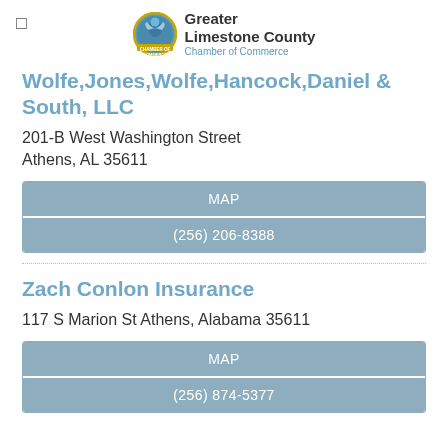Greater Limestone County Chamber of Commerce
Wolfe,Jones,Wolfe,Hancock,Daniel & South, LLC
201-B West Washington Street
Athens, AL 35611
MAP
(256) 206-8388
Zach Conlon Insurance
117 S Marion St Athens, Alabama 35611
MAP
(256) 874-5377